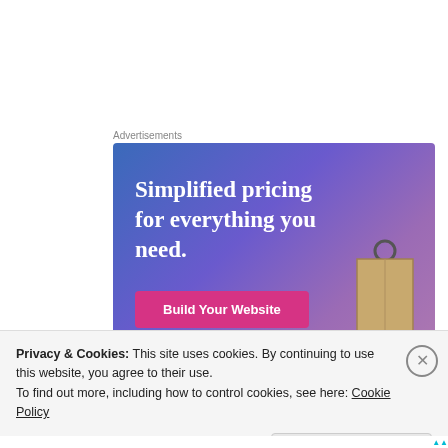Advertisements
[Figure (illustration): Advertisement banner with gradient blue-purple background. Text reads 'Simplified pricing for everything you need.' with a pink 'Build Your Website' button and a price tag image on the right.]
Privacy & Cookies: This site uses cookies. By continuing to use this website, you agree to their use.
To find out more, including how to control cookies, see here: Cookie Policy
Close and accept